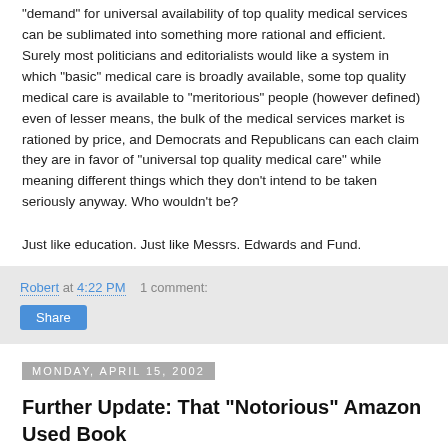"demand" for universal availability of top quality medical services can be sublimated into something more rational and efficient. Surely most politicians and editorialists would like a system in which "basic" medical care is broadly available, some top quality medical care is available to "meritorious" people (however defined) even of lesser means, the bulk of the medical services market is rationed by price, and Democrats and Republicans can each claim they are in favor of "universal top quality medical care" while meaning different things which they don't intend to be taken seriously anyway. Who wouldn't be?
Just like education. Just like Messrs. Edwards and Fund.
Robert at 4:22 PM    1 comment:
Monday, April 15, 2002
Further Update: That “Notorious” Amazon Used Book